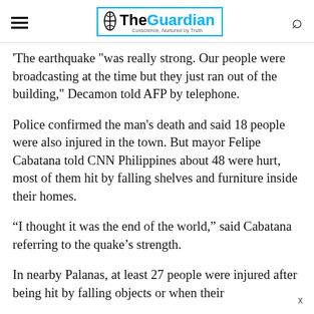The Guardian — Conscience, Nurtured by Truth
The earthquake "was really strong. Our people were broadcasting at the time but they just ran out of the building," Decamon told AFP by telephone.
Police confirmed the man's death and said 18 people were also injured in the town. But mayor Felipe Cabatana told CNN Philippines about 48 were hurt, most of them hit by falling shelves and furniture inside their homes.
“I thought it was the end of the world,” said Cabatana referring to the quake’s strength.
In nearby Palanas, at least 27 people were injured after being hit by falling objects or when their